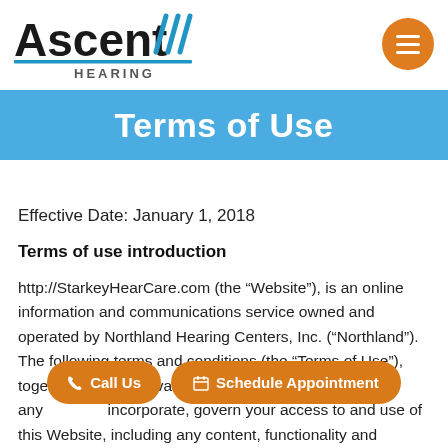[Figure (logo): Ascent Hearing logo with blue diagonal stripes and blue underline, with HEARING text below]
Terms of Use
Effective Date: January 1, 2018
Terms of use introduction
http://StarkeyHearCare.com (the “Website”), is an online information and communications service owned and operated by Northland Hearing Centers, Inc. (“Northland”). The following terms and conditions (the “Terms of Use”), together with the Privacy Policy, and any incorporate, govern your access to and use of this Website, including any content, functionality and services
[Figure (infographic): Two orange pill-shaped CTA buttons: 'Call Us' with phone icon and 'Schedule Appointment' with calendar icon]